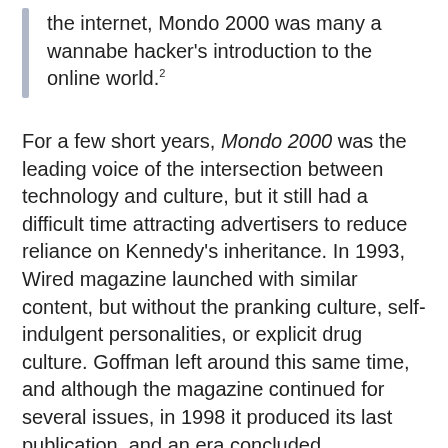the internet, Mondo 2000 was many a wannabe hacker's introduction to the online world.²
For a few short years, Mondo 2000 was the leading voice of the intersection between technology and culture, but it still had a difficult time attracting advertisers to reduce reliance on Kennedy's inheritance. In 1993, Wired magazine launched with similar content, but without the pranking culture, self-indulgent personalities, or explicit drug culture. Goffman left around this same time, and although the magazine continued for several issues, in 1998 it produced its last publication, and an era concluded.
Goffman himself continued with obscure projects,